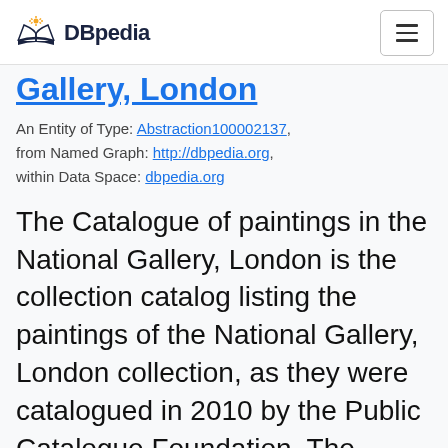DBpedia
Gallery, London
An Entity of Type: Abstraction100002137, from Named Graph: http://dbpedia.org, within Data Space: dbpedia.org
The Catalogue of paintings in the National Gallery, London is the collection catalog listing the paintings of the National Gallery, London collection, as they were catalogued in 2010 by the Public Catalogue Foundation. The collection contains roughly 2,300 paintings by 750 artists, and only attributed artists are listed here. Painters with more than